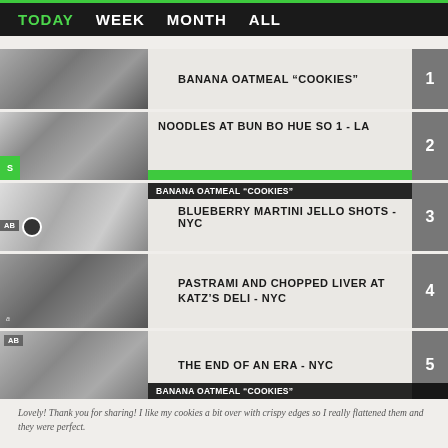TODAY  WEEK  MONTH  ALL
BANANA OATMEAL "COOKIES" — rank 1
NOODLES AT BUN BO HUE SO 1 - LA — rank 2
BLUEBERRY MARTINI JELLO SHOTS - NYC — rank 3
PASTRAMI AND CHOPPED LIVER AT KATZ'S DELI - NYC — rank 4
THE END OF AN ERA - NYC — rank 5
Lovely! Thank you for sharing! I like my cookies a bit over with crispy edges so I really flattened them and they were perfect.